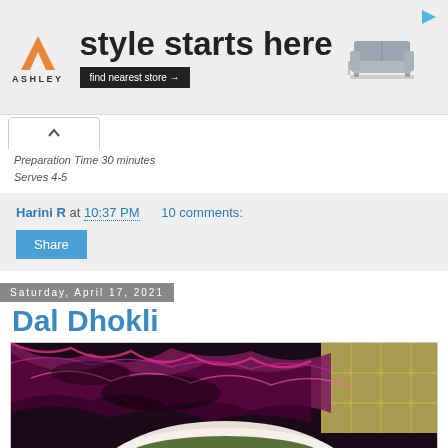[Figure (illustration): Ashley Furniture advertisement banner: 'style starts here' with logo, 'find nearest store →' button, and image of a sofa]
Preparation Time 30 minutes
Serves 4-5
Harini R at 10:37 PM    10 comments:
Share
Saturday, April 17, 2021
Dal Dhokli
[Figure (photo): Close-up food photo showing a bowl of Dal Dhokli — a soup/stew with purple and dark-colored garnish or ingredients visible, placed on a yellow tile surface]